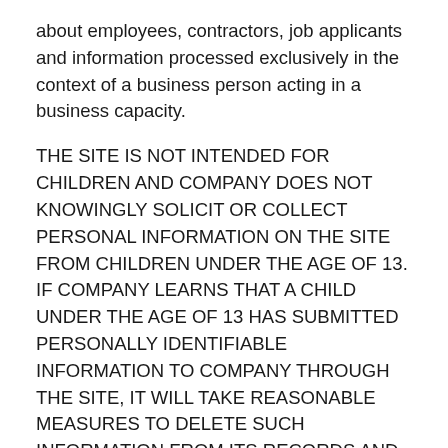about employees, contractors, job applicants and information processed exclusively in the context of a business person acting in a business capacity.
THE SITE IS NOT INTENDED FOR CHILDREN AND COMPANY DOES NOT KNOWINGLY SOLICIT OR COLLECT PERSONAL INFORMATION ON THE SITE FROM CHILDREN UNDER THE AGE OF 13. IF COMPANY LEARNS THAT A CHILD UNDER THE AGE OF 13 HAS SUBMITTED PERSONALLY IDENTIFIABLE INFORMATION TO COMPANY THROUGH THE SITE, IT WILL TAKE REASONABLE MEASURES TO DELETE SUCH INFORMATION FROM ITS RECORDS AND TO NOT USE SUCH INFORMATION FOR ANY PURPOSE (EXCEPT WHERE NECESSARY TO PROTECT THE SAFETY OF THE CHILD OR OTHERS, AS REQUIRED BY LAW, OR AS MAY OTHERWISE BE REQUIRED BY LAW).